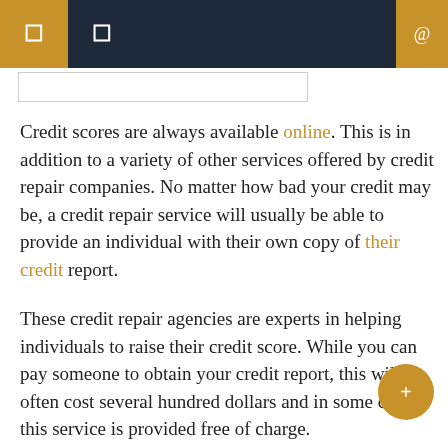navigation header with search
Credit scores are always available online. This is in addition to a variety of other services offered by credit repair companies. No matter how bad your credit may be, a credit repair service will usually be able to provide an individual with their own copy of their credit report.
These credit repair agencies are experts in helping individuals to raise their credit score. While you can pay someone to obtain your credit report, this will often cost several hundred dollars and in some cases, this service is provided free of charge.
It is essential to use all the resources available to an individual that is trying to learn about credit scores. If you can raise your credit score, then you will be able to get the